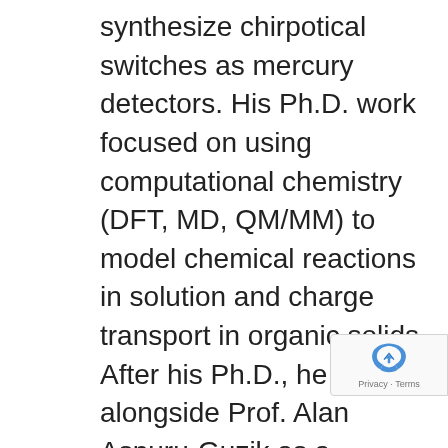synthesize chirpotical switches as mercury detectors. His Ph.D. work focused on using computational chemistry (DFT, MD, QM/MM) to model chemical reactions in solution and charge transport in organic solids. After his Ph.D., he worked alongside Prof. Alan Aspuru-Guzik as a Department of Energy EERE postdoctoral fellow, and joined the faculty in the Department of Chemistry & Chemical Biology at Northeastern University in August 2017. His research group uses QM, MD, and machine learning techniques to identify underlying structure-property relationships between the ground and excited states of organic molecules and rationally designing molecular targets in photomedicine and organic electronics. Steven is also the faculty advisor for the Northeastern University